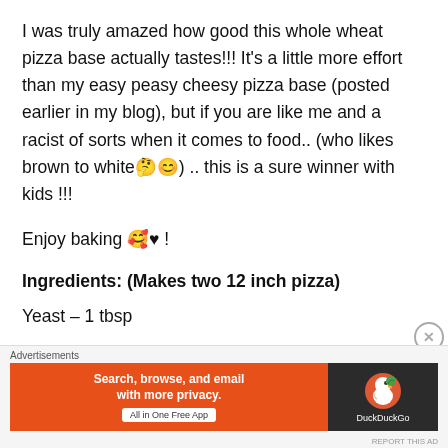I was truly amazed how good this whole wheat pizza base actually tastes!!! It's a little more effort than my easy peasy cheesy pizza base (posted earlier in my blog), but if you are like me and a racist of sorts when it comes to food.. (who likes brown to white🤔😊) .. this is a sure winner with kids !!!
Enjoy baking 🥰♥ !
Ingredients: (Makes two 12 inch pizza)
Yeast – 1 tbsp
[Figure (screenshot): DuckDuckGo advertisement banner with orange background, text 'Search, browse, and email with more privacy. All in One Free App' and DuckDuckGo logo on dark background]
Advertisements